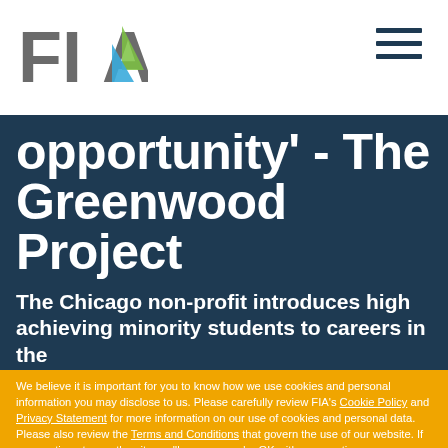[Figure (logo): FIA logo with gray and green/blue triangular arrow mark]
opportunity' - The Greenwood Project
The Chicago non-profit introduces high achieving minority students to careers in the
We believe it is important for you to know how we use cookies and personal information you may disclose to us. Please carefully review FIA's Cookie Policy and Privacy Statement for more information on our use of cookies and personal data. Please also review the Terms and Conditions that govern the use of our website. If you continue to use the site, we'll assume you're OK with our practices.
I'm fine with this